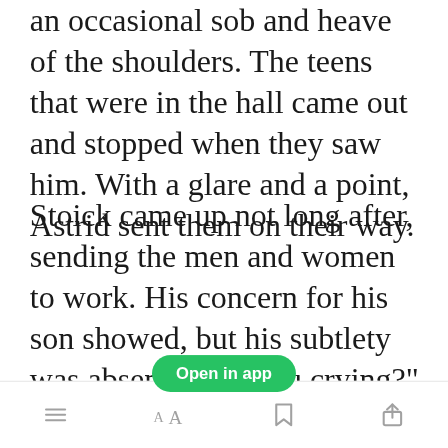an occasional sob and heave of the shoulders. The teens that were in the hall came out and stopped when they saw him. With a glare and a point, Astrid sent them on their way.
Stoick came up not long after, sending the men and women to work. His concern for his son showed, but his subtlety was absent. "Are you crying?" He asked, squatting
Open in app
[toolbar icons: list, font size AA, bookmark, share]